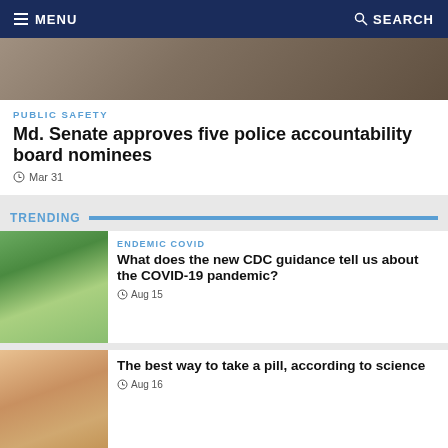MENU   SEARCH
[Figure (photo): Header image of people, partially visible at top]
PUBLIC SAFETY
Md. Senate approves five police accountability board nominees
Mar 31
TRENDING
[Figure (photo): Crowd of people walking outdoors among trees]
ENDEMIC COVID
What does the new CDC guidance tell us about the COVID-19 pandemic?
Aug 15
[Figure (photo): Hand holding a pill]
The best way to take a pill, according to science
Aug 16
[Figure (photo): Vaccine syringe illustration]
COVID-19 VACCINES
What you need to know about bivalent boosters for COVID-19